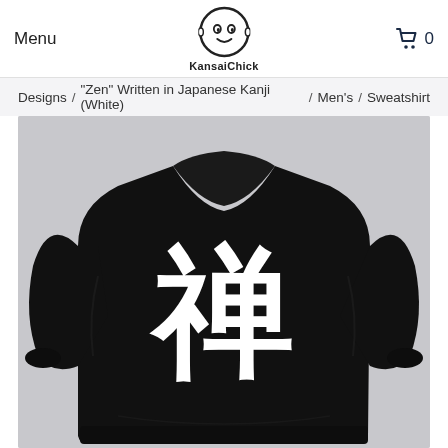Menu | KansaiChick | 🛒 0
Designs / "Zen" Written in Japanese Kanji (White) / Men's / Sweatshirt
[Figure (photo): Black crewneck sweatshirt with white Japanese kanji character 禅 (Zen) printed on the chest, displayed on a light grey background.]